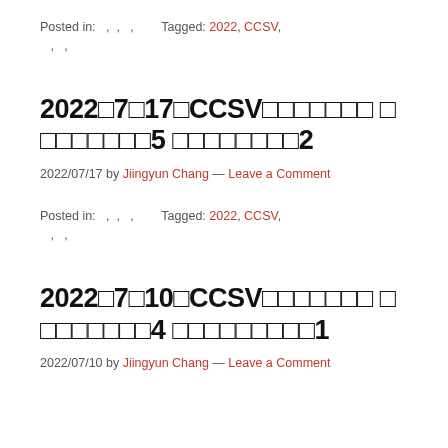Posted in: , , , Tagged: 2022, CCSV, , ,
2022年7月17日CCSV週報　日本語版5 英語版2
2022/07/17 by Jiingyun Chang — Leave a Comment
Posted in: , , , Tagged: 2022, CCSV, , ,
2022年7月10日CCSV週報　日本語版4 英語版1
2022/07/10 by Jiingyun Chang — Leave a Comment